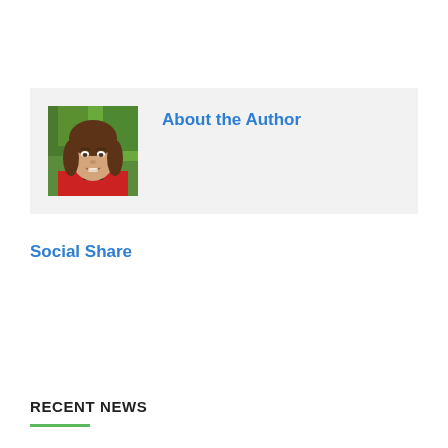[Figure (photo): Headshot photo of a woman with brown hair, smiling, wearing a red jacket, with green foliage in the background.]
About the Author
Social Share
RECENT NEWS